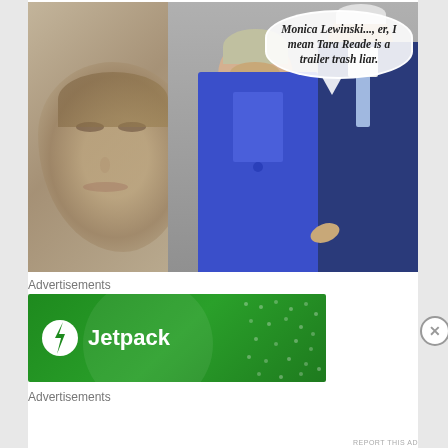[Figure (photo): Political meme image showing a faded face close-up on the left, and two figures (a woman in blue and an older man in a suit) on the right with a speech bubble containing italicized text: 'Monica Lewinski..., er, I mean Tara Reade is a trailer trash liar.']
Advertisements
[Figure (logo): Jetpack advertisement banner - green background with Jetpack logo (lightning bolt in circle) and text 'Jetpack']
Advertisements